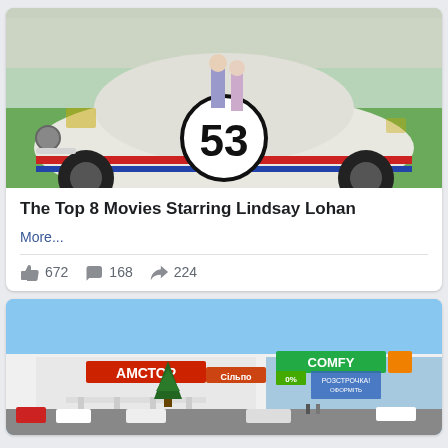[Figure (photo): Photo of Herbie the Love Bug (car #53, VW Beetle) at an outdoor event with crowd in background]
The Top 8 Movies Starring Lindsay Lohan
More...
672  168  224
[Figure (photo): Photo of a shopping mall exterior with АМСТОР and COMFY signs, Christmas tree, and parked cars]